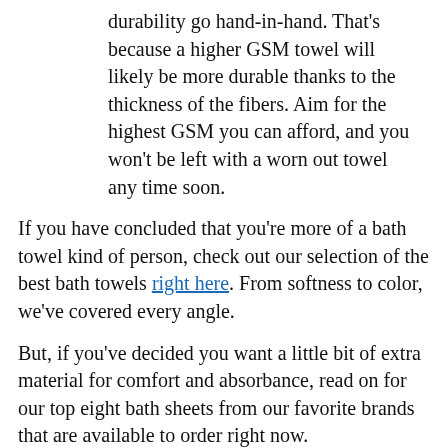durability go hand-in-hand. That’s because a higher GSM towel will likely be more durable thanks to the thickness of the fibers. Aim for the highest GSM you can afford, and you won’t be left with a worn out towel any time soon.
If you have concluded that you’re more of a bath towel kind of person, check out our selection of the best bath towels right here. From softness to color, we’ve covered every angle.
But, if you’ve decided you want a little bit of extra material for comfort and absorbance, read on for our top eight bath sheets from our favorite brands that are available to order right now.
1. Parachute Classic Turkish Cotton Bath Sheet
BEST OVERALL